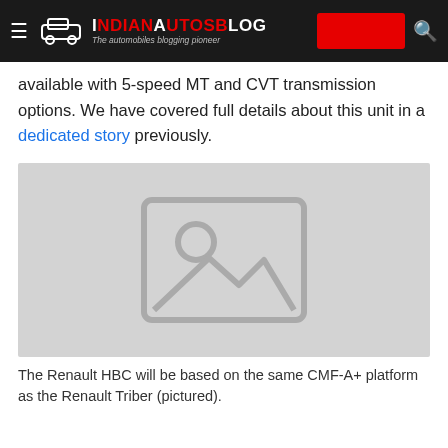IndianAutosBlog — The automobiles blogging pioneer
available with 5-speed MT and CVT transmission options. We have covered full details about this unit in a dedicated story previously.
[Figure (photo): Placeholder image for Renault HBC article on IndianAutosBlog]
The Renault HBC will be based on the same CMF-A+ platform as the Renault Triber (pictured).